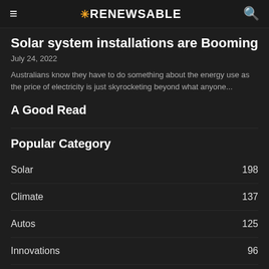≡ ✳RENEWSABLE 🔍
Solar system installations are Booming
July 24, 2022
Australians know they have to do something about the energy use as the price of electricity is just skyrocketing beyond what anyone...
A Good Read
Popular Category
Solar   198
Climate   137
Autos   125
Innovations   96
Wind   84